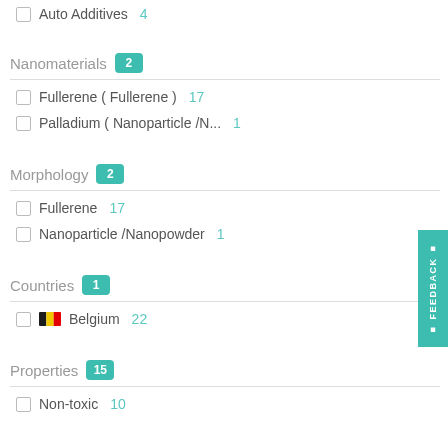Auto Additives 4
Nanomaterials 2
Fullerene ( Fullerene ) 17
Palladium ( Nanoparticle /N... 1
Morphology 2
Fullerene 17
Nanoparticle /Nanopowder 1
Countries 1
Belgium 22
Properties 15
Non-toxic 10